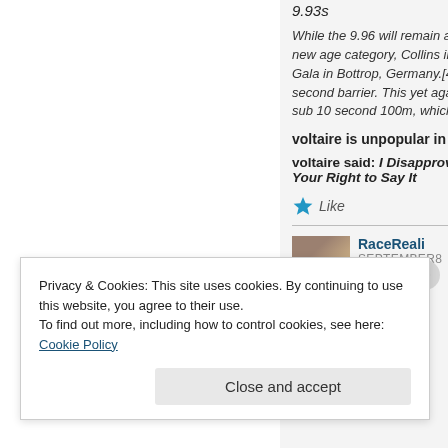9.93s
While the 9.96 will remain as the new age category, Collins improved at the Gala in Bottrop, Germany.[4] H... second barrier. This yet again... sub 10 second 100m, which co...
voltaire is unpopular in fra...
voltaire said: I Disapprove of... Your Right to Say It
Like
RaceReali...
SEPTEMBER8...
Privacy & Cookies: This site uses cookies. By continuing to use this website, you agree to their use.
To find out more, including how to control cookies, see here: Cookie Policy
Close and accept